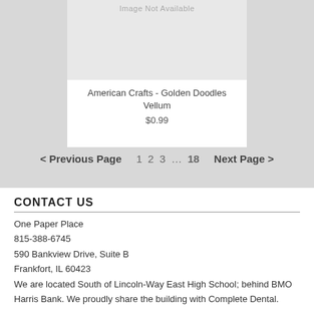[Figure (other): Image Not Available placeholder for product]
American Crafts - Golden Doodles Vellum
$0.99
< Previous Page   1  2  3 ... 18   Next Page >
CONTACT US
One Paper Place
815-388-6745
590 Bankview Drive, Suite B
Frankfort, IL 60423
We are located South of Lincoln-Way East High School; behind BMO Harris Bank. We proudly share the building with Complete Dental.